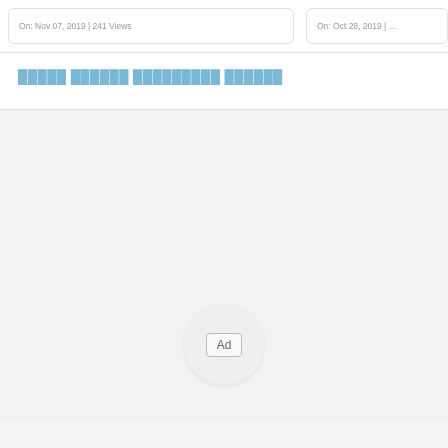On: Nov 07, 2019 | 241 Views
On: Oct 28, 2019 | ...
█████ ██████ █████████ ██████
[Figure (other): Ad placeholder circle with 'Ad' label button in center of light gray area]